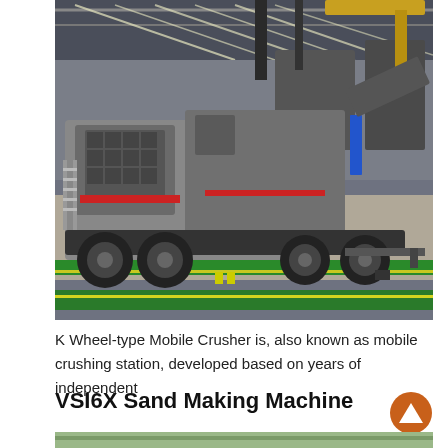[Figure (photo): Industrial indoor factory/warehouse showing K Wheel-type Mobile Crusher machinery on a wheeled chassis. The large heavy equipment is parked inside a building with metal roof trusses and fluorescent lighting. Green floor markings are visible. Multiple units of grey and black mobile crushing stations are visible.]
K Wheel-type Mobile Crusher is, also known as mobile crushing station, developed based on years of independent
VSI6X Sand Making Machine
[Figure (photo): Partial view of VSI6X Sand Making Machine, beginning of image cropped at bottom of page.]